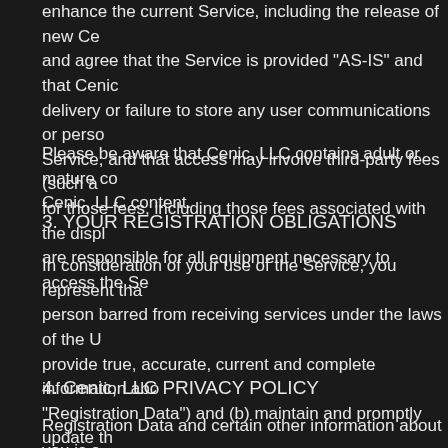enhance the current Service, including the release of new Ce... and agree that the Service is provided "AS-IS" and that Ceni... delivery or failure to store any user communications or perso... Service, and that access may involve third-party fees (such a... for those fees, including those fees associated with the displa... are responsible for all equipment necessary to access the Se...
Please be aware that Cenic, LLC contains adult or mature co... Cenic, LLC content.
3. YOUR REGISTRATION OBLIGATIONS
In consideration of your use of the Service, you represent tha... person barred from receiving services under the laws of the U... provide true, accurate, current and complete information abo... "Registration Data") and (b) maintain and promptly update th... you provide any information that is untrue, inaccurate, not cur... suspect that such information is untrue, inaccurate, not curre... your account and refuse any and all current or future use of t... the safety and privacy of all its users, particularly children.
4. Cenic, LLC PRIVACY POLICY
Registration Data and certain other information about you is s... privacy policy at this url. You understand that through your us... in the Privacy Policy) of this information, including the transfe...